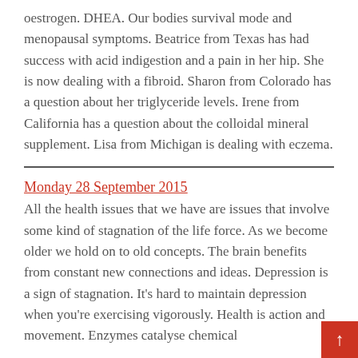oestrogen. DHEA. Our bodies survival mode and menopausal symptoms. Beatrice from Texas has had success with acid indigestion and a pain in her hip. She is now dealing with a fibroid. Sharon from Colorado has a question about her triglyceride levels. Irene from California has a question about the colloidal mineral supplement. Lisa from Michigan is dealing with eczema.
Monday 28 September 2015
All the health issues that we have are issues that involve some kind of stagnation of the life force. As we become older we hold on to old concepts. The brain benefits from constant new connections and ideas. Depression is a sign of stagnation. It's hard to maintain depression when you're exercising vigorously. Health is action and movement. Enzymes catalyse chemical